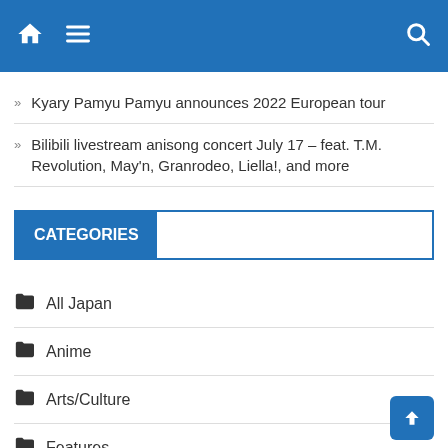Navigation bar with home, menu, and search icons
Kyary Pamyu Pamyu announces 2022 European tour
Bilibili livestream anisong concert July 17 – feat. T.M. Revolution, May'n, Granrodeo, Liella!, and more
CATEGORIES
All Japan
Anime
Arts/Culture
Features
Games
Interviews